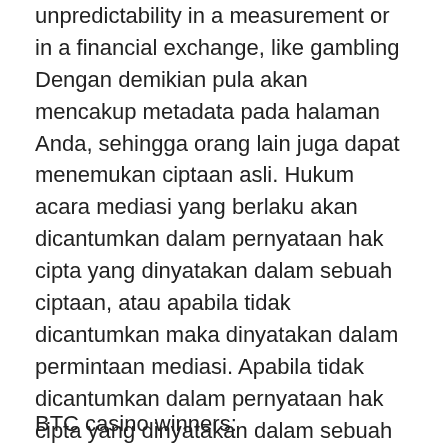unpredictability in a measurement or in a financial exchange, like gambling Dengan demikian pula akan mencakup metadata pada halaman Anda, sehingga orang lain juga dapat menemukan ciptaan asli. Hukum acara mediasi yang berlaku akan dicantumkan dalam pernyataan hak cipta yang dinyatakan dalam sebuah ciptaan, atau apabila tidak dicantumkan maka dinyatakan dalam permintaan mediasi. Apabila tidak dicantumkan dalam pernyataan hak cipta yang dinyatakan dalam sebuah ciptaan, maka Hukum Acara Arbitrase UNCITRAL berlaku untuk setiap arbitrase. Apabila tersedia, Anda harus mencantumkan nama pencipta dan pihak terkait, pemberitahuan hak cipta, pemberitahuan lisensi, sangkalan, dan tautan terhadap materi yang digunakan, slot machine volatility calculation.
BTC casino winners: